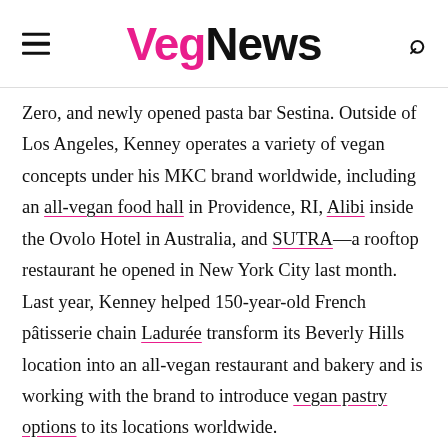VegNews
Zero, and newly opened pasta bar Sestina. Outside of Los Angeles, Kenney operates a variety of vegan concepts under his MKC brand worldwide, including an all-vegan food hall in Providence, RI, Alibi inside the Ovolo Hotel in Australia, and SUTRA—a rooftop restaurant he opened in New York City last month. Last year, Kenney helped 150-year-old French pâtisserie chain Ladurée transform its Beverly Hills location into an all-vegan restaurant and bakery and is working with the brand to introduce vegan pastry options to its locations worldwide.
JUST LAUNCHED!
Vote in the 2023 Best Vegan Ice Cream in America